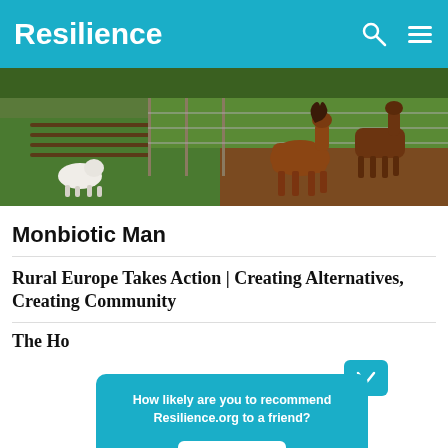Resilience
[Figure (photo): Farm scene showing horses walking along a dirt path next to a fence, with a white dog or sheep grazing on the left, green fields and tilled soil visible in the background.]
Monbiotic Man
Rural Europe Takes Action | Creating Alternatives, Creating Community
The Ho
How likely are you to recommend Resilience.org to a friend?
Reply